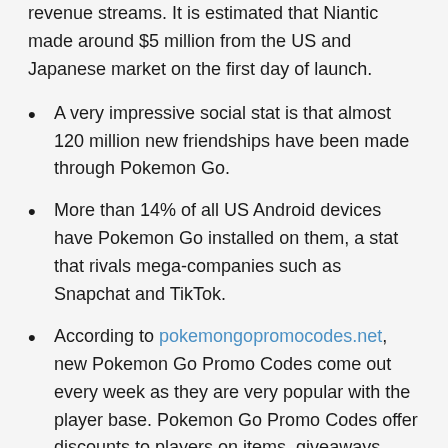revenue streams. It is estimated that Niantic made around $5 million from the US and Japanese market on the first day of launch.
A very impressive social stat is that almost 120 million new friendships have been made through Pokemon Go.
More than 14% of all US Android devices have Pokemon Go installed on them, a stat that rivals mega-companies such as Snapchat and TikTok.
According to pokemongopromocodes.net, new Pokemon Go Promo Codes come out every week as they are very popular with the player base. Pokemon Go Promo Codes offer discounts to players on items, giveaways, free packs, and even ultra rate Pokemon.
Pokemon Go users spend a total of 30 mines in-game per day, desperately trying to find and catch the rarest of Pokemon in the game which are Articuno, Zapdos,